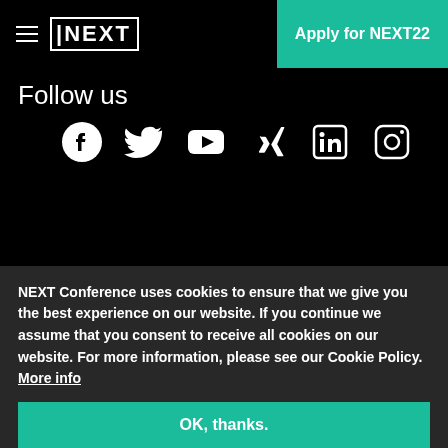≡ NEXT   Apply for NEXT22
Follow us
[Figure (infographic): Six social media icons in a row: Facebook, Twitter, YouTube, Xing, LinkedIn, Instagram — all white on black background]
Hosts
NEXT Conference uses cookies to ensure that we give you the best experience on our website. If you continue we assume that you consent to receive all cookies on our website. For more information, please see our Cookie Policy. More info
OK, thanks.